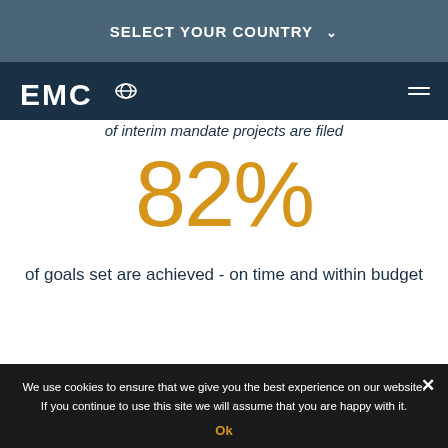SELECT YOUR COUNTRY ∨
[Figure (logo): EMC or similar company logo on dark navy bar with hamburger menu icon]
of interim mandate projects are filed
82%
of goals set are achieved - on time and within budget
50%
We use cookies to ensure that we give you the best experience on our website. If you continue to use this site we will assume that you are happy with it. Ok